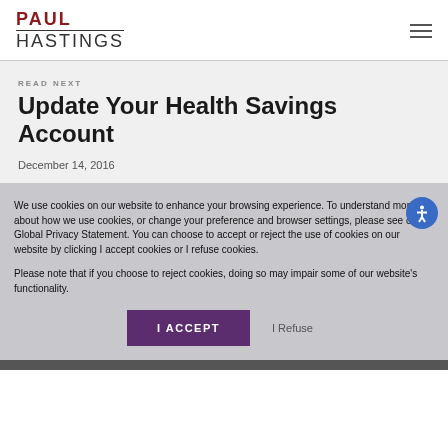PAUL HASTINGS
READ NEXT
Update Your Health Savings Account
December 14, 2016
We use cookies on our website to enhance your browsing experience. To understand more about how we use cookies, or change your preference and browser settings, please see our Global Privacy Statement. You can choose to accept or reject the use of cookies on our website by clicking I accept cookies or I refuse cookies.

Please note that if you choose to reject cookies, doing so may impair some of our website's functionality.
I ACCEPT
I Refuse